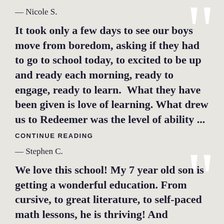— Nicole S.
It took only a few days to see our boys move from boredom, asking if they had to go to school today, to excited to be up and ready each morning, ready to engage, ready to learn.  What they have been given is love of learning. What drew us to Redeemer was the level of ability ...
CONTINUE READING
— Stephen C.
We love this school! My 7 year old son is getting a wonderful education. From cursive, to great literature, to self-paced math lessons, he is thriving! And